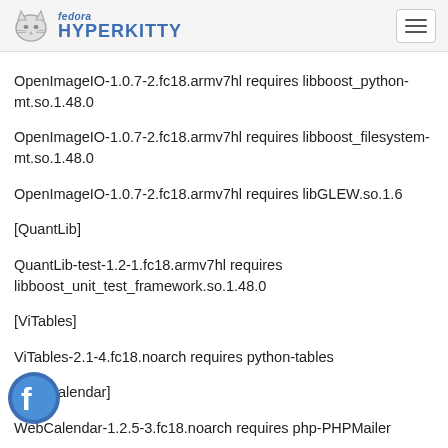fedora HYPERKITTY
OpenImageIO-1.0.7-2.fc18.armv7hl requires libboost_python-mt.so.1.48.0
OpenImageIO-1.0.7-2.fc18.armv7hl requires libboost_filesystem-mt.so.1.48.0
OpenImageIO-1.0.7-2.fc18.armv7hl requires libGLEW.so.1.6
[QuantLib]
QuantLib-test-1.2-1.fc18.armv7hl requires libboost_unit_test_framework.so.1.48.0
[ViTables]
ViTables-2.1-4.fc18.noarch requires python-tables
[WebCalendar]
WebCalendar-1.2.5-3.fc18.noarch requires php-PHPMailer
[accerciser]
accerciser-3.5.5-1.fc18.noarch requires ipython
[aeolus-conductor]
aeolus-all-0.10.6-1.fc18.noarch requires mongodb-server
aeolus-all-0.10.6-1.fc18.noarch requires iwhd
aeolus-all-0.10.6-1.fc18.noarch requires imagefactory-jeosconf-ec2-rhel
aeolus-all-0.10.6-1.fc18.noarch requires imagefactory-jeosconf-